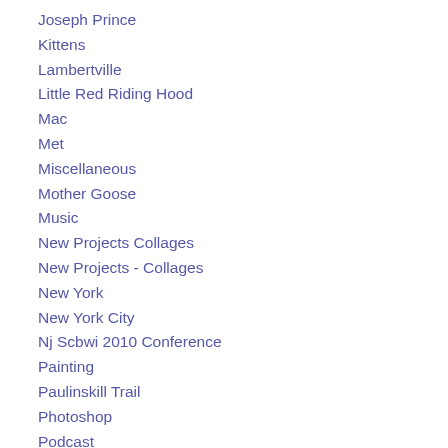Joseph Prince
Kittens
Lambertville
Little Red Riding Hood
Mac
Met
Miscellaneous
Mother Goose
Music
New Projects Collages
New Projects - Collages
New York
New York City
Nj Scbwi 2010 Conference
Painting
Paulinskill Trail
Photoshop
Podcast
Poem